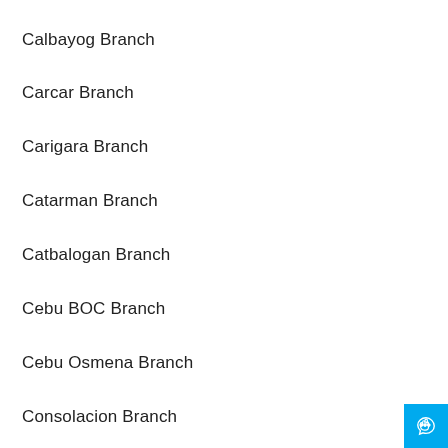Calbayog Branch
Carcar Branch
Carigara Branch
Catarman Branch
Catbalogan Branch
Cebu BOC Branch
Cebu Osmena Branch
Consolacion Branch